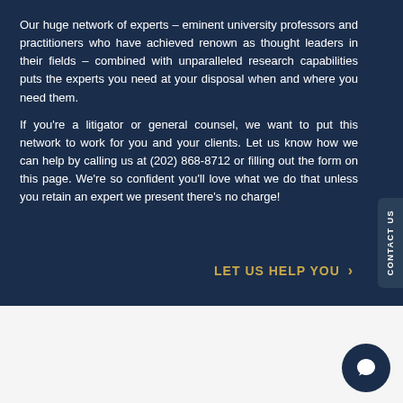Our huge network of experts – eminent university professors and practitioners who have achieved renown as thought leaders in their fields – combined with unparalleled research capabilities puts the experts you need at your disposal when and where you need them.
If you're a litigator or general counsel, we want to put this network to work for you and your clients. Let us know how we can help by calling us at (202) 868-8712 or filling out the form on this page. We're so confident you'll love what we do that unless you retain an expert we present there's no charge!
LET US HELP YOU >
CONTACT US
Search again
>
>>